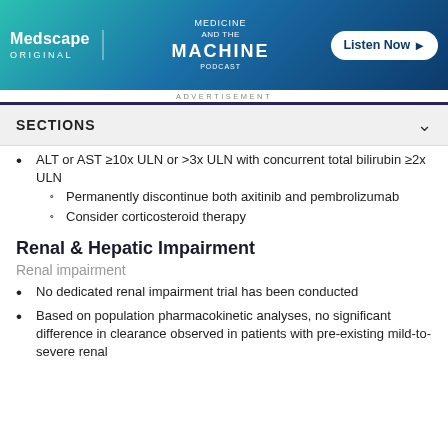[Figure (other): Medscape Original advertisement banner for 'Medicine and the Machine' podcast with a 'Listen Now' button]
ADVERTISEMENT
SECTIONS
ALT or AST ≥10x ULN or >3x ULN with concurrent total bilirubin ≥2x ULN
Permanently discontinue both axitinib and pembrolizumab
Consider corticosteroid therapy
Renal & Hepatic Impairment
Renal impairment
No dedicated renal impairment trial has been conducted
Based on population pharmacokinetic analyses, no significant difference in clearance observed in patients with pre-existing mild-to-severe renal